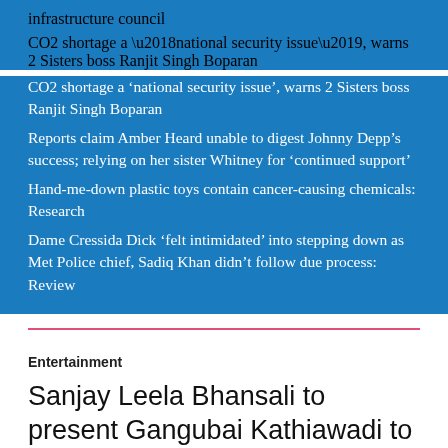infrastructure council
CO2 shortage a ‘national security issue’, warns 2 Sisters boss Ranjit Singh Boparan
Reports claim Amber Heard unable to digest Johnny Depp’s success; relying on her sister Whitney for ‘continued support’
Hand-me-down plastic toys contain cancer-causing chemicals: Research
Dame Cressida Dick ‘felt intimidated’ into stepping down as Met Police chief, Sadiq Khan didn’t follow due process: Review
Entertainment
Sanjay Leela Bhansali to present Gangubai Kathiawadi to the world at 72nd Berlin International Film Festival